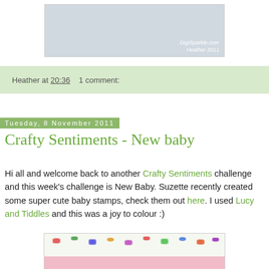[Figure (photo): Top portion of a craft project photo showing a light blue/grey box, partially visible, with DigiSparkle.com watermark and 'Heather 2011' text in white italic in bottom right corner.]
Heather at 20:36    1 comment:
Tuesday, 8 November 2011
Crafty Sentiments - New baby
Hi all and welcome back to another Crafty Sentiments challenge and this week's challenge is New Baby. Suzette recently created some super cute baby stamps, check them out here. I used Lucy and Tiddles and this was a joy to colour :)
[Figure (photo): Bottom portion of a craft card featuring a colorful butterfly patterned background and a pink strip at the bottom, partially visible.]